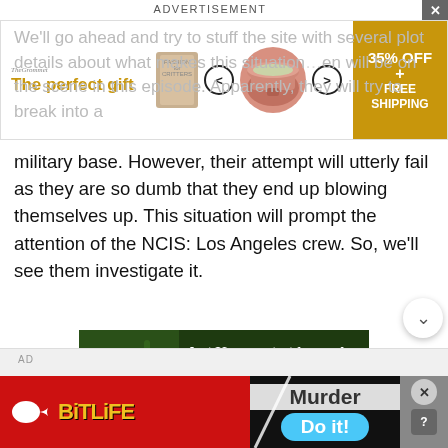ADVERTISEMENT
[Figure (screenshot): Banner advertisement for 'The perfect gift' kitchen product with arrows, product image, and '35% OFF + FREE SHIPPING' offer in gold/yellow]
We'll go ahead and try to stuff the site with several plot details about what makes this situation … en will be on the scene in this episode. Apparently, they will try to break into a military base. However, their attempt will utterly fail as they are so dumb that they end up blowing themselves up. This situation will prompt the attention of the NCIS: Los Angeles crew. So, we'll see them investigate it.
[Figure (screenshot): Green Amazon conservation ad: 'Just $2 can protect 1 acre of irreplaceable forest homes in the Amazon. How many acres will you protect?' with a monkey photo and 'PROTECT FORESTS NOW' button]
[Figure (screenshot): Bottom advertisement bar: BitLife app ad on red background on left, Murder/Do it! game ad on right with close and help buttons]